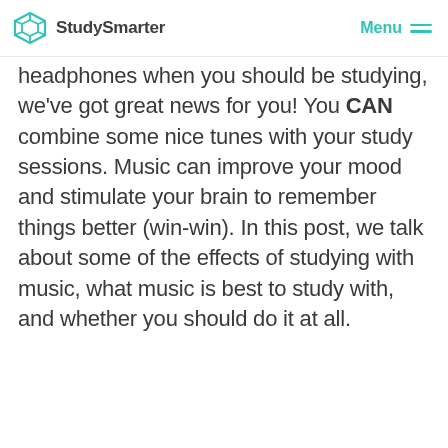StudySmarter  Menu
headphones when you should be studying, we've got great news for you! You CAN combine some nice tunes with your study sessions. Music can improve your mood and stimulate your brain to remember things better (win-win). In this post, we talk about some of the effects of studying with music, what music is best to study with, and whether you should do it at all.